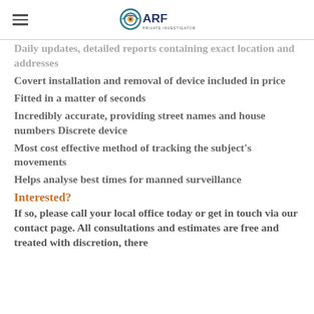ARF Private Investigators
Daily updates, detailed reports containing exact location and addresses
Covert installation and removal of device included in price
Fitted in a matter of seconds
Incredibly accurate, providing street names and house numbers Discrete device
Most cost effective method of tracking the subject's movements
Helps analyse best times for manned surveillance
Interested?
If so, please call your local office today or get in touch via our contact page. All consultations and estimates are free and treated with discretion, there